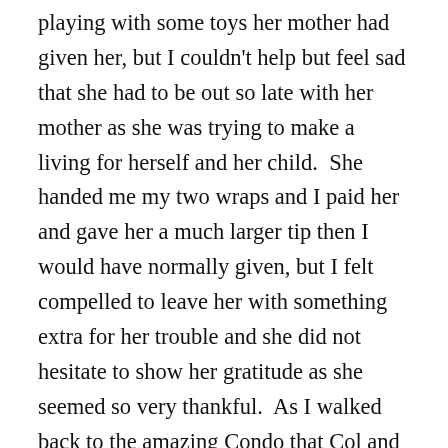playing with some toys her mother had given her, but I couldn't help but feel sad that she had to be out so late with her mother as she was trying to make a living for herself and her child.  She handed me my two wraps and I paid her and gave her a much larger tip then I would have normally given, but I felt compelled to leave her with something extra for her trouble and she did not hesitate to show her gratitude as she seemed so very thankful.  As I walked back to the amazing Condo that Col and I are renting during our time here in Chiang Mia I thought about our grand children back home and how blessed they are to have such great parents who love them, a warm and comfortable bed to sleep in, hot water to bath or shower every night and that they will probably never no what it feels like to